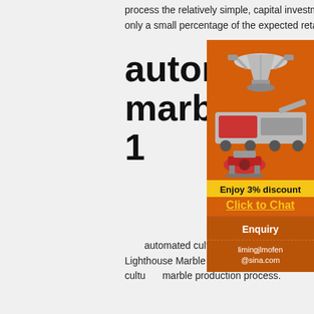process the relatively simple, capital investment is low and row material prices represent only a small percentage of the expected retail price.
automated cultured marble production line 1
automated cultured marble production line Lighthouse Marble. Fred Schwan, Jr. founded Lighthouse Marble Works, Inc. in 1973 after a California to learn the ins and outs of the cultured marble production process.
Cultured Marble Manufacturing Process & Factory
[Figure (illustration): Advertisement sidebar showing industrial machinery (crushers/mills) on orange background with 'Enjoy 3% discount', 'Click to Chat' in yellow text, 'Enquiry' and email 'limingjlmofen@sina.com' on darker orange background.]